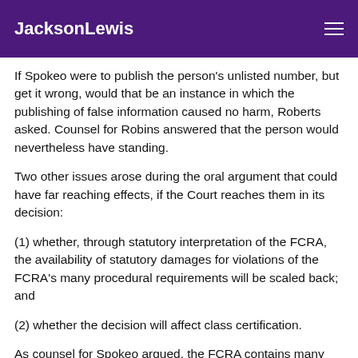JacksonLewis
If Spokeo were to publish the person's unlisted number, but get it wrong, would that be an instance in which the publishing of false information caused no harm, Roberts asked. Counsel for Robins answered that the person would nevertheless have standing.
Two other issues arose during the oral argument that could have far reaching effects, if the Court reaches them in its decision:
(1) whether, through statutory interpretation of the FCRA, the availability of statutory damages for violations of the FCRA's many procedural requirements will be scaled back; and
(2) whether the decision will affect class certification.
As counsel for Spokeo argued, the FCRA contains many